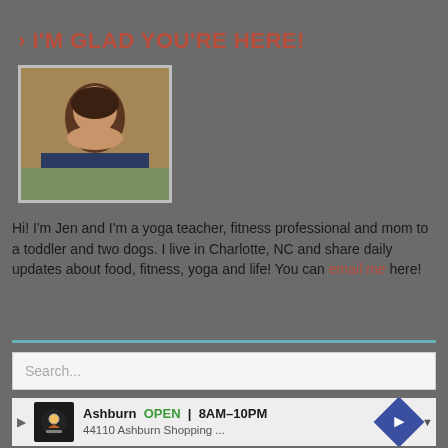> I'M GLAD YOU'RE HERE!
[Figure (photo): Portrait photo of a woman with dark hair, smiling, outdoors]
Hi! I'm Jen and I'm a yoga teacher, fitness professional and mom to a toddler and two dogs. I live in Charlotte, NC and share daily updates about food, fitness, yoga and life! You can email me here!
Search...
[Figure (other): Advertisement banner: Ashburn OPEN 8AM-10PM, 44110 Ashburn Shopping...]